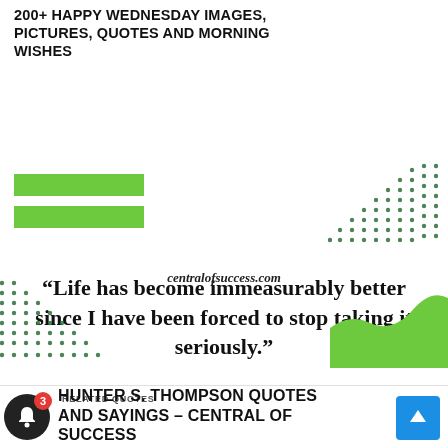200+ HAPPY WEDNESDAY IMAGES, PICTURES, QUOTES AND MORNING WISHES
[Figure (illustration): Two green horizontal bars (decorative), dot pattern top-right, quote text in serif bold font reading “Life has become immeasurably better since I have been forced to stop taking it seriously.”, green wave bottom-right, dot pattern bottom-left, centralofsuccess.com italic text]
RELATED QUOTES
HUNTER S. THOMPSON QUOTES AND SAYINGS – CENTRAL OF SUCCESS